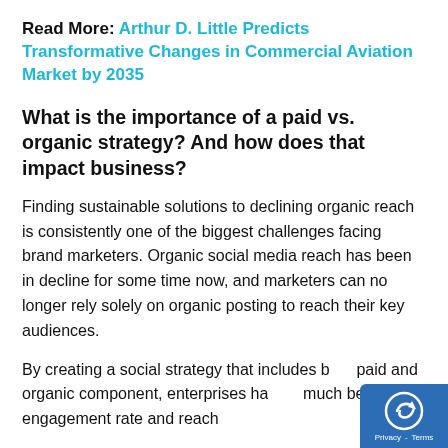Read More: Arthur D. Little Predicts Transformative Changes in Commercial Aviation Market by 2035
What is the importance of a paid vs. organic strategy? And how does that impact business?
Finding sustainable solutions to declining organic reach is consistently one of the biggest challenges facing brand marketers. Organic social media reach has been in decline for some time now, and marketers can no longer rely solely on organic posting to reach their key audiences.
By creating a social strategy that includes both paid and organic component, enterprises have a much better engagement rate and reach